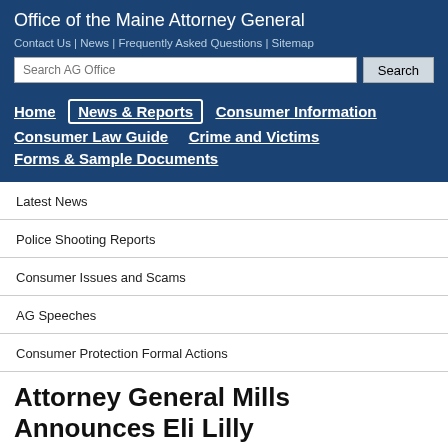Office of the Maine Attorney General
Contact Us | News | Frequently Asked Questions | Sitemap
Latest News
Police Shooting Reports
Consumer Issues and Scams
AG Speeches
Consumer Protection Formal Actions
Attorney General Mills Announces Eli Lilly